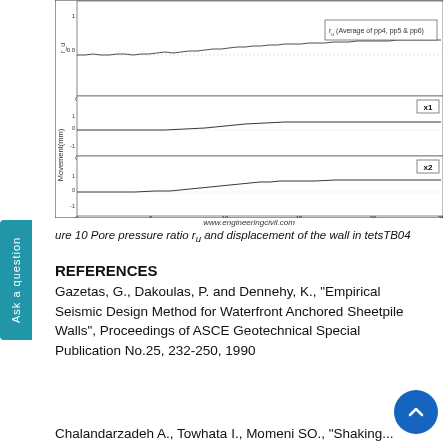[Figure (continuous-plot): Two plots: top shows pore pressure ratio r_u (Average of pp4, pp5 & pp6) vs time (0-10), with noisy signal rising from ~0 to ~0.5. Middle shows Movement (mm) X1 vs time (0-25), rising smoothly. Bottom shows Movement (mm) X2 vs time (0-25), rising with more noise.]
www.engineeringcivil.com
Figure 10 Pore pressure ratio r_u and displacement of the wall in tetsTB04
REFERENCES
Gazetas, G., Dakoulas, P. and Dennehy, K., "Empirical Seismic Design Method for Waterfront Anchored Sheetpile Walls", Proceedings of ASCE Geotechnical Special Publication No.25, 232-250, 1990
Chalandarzadeh A., Towhata I., Momeni SO., "Shaking...